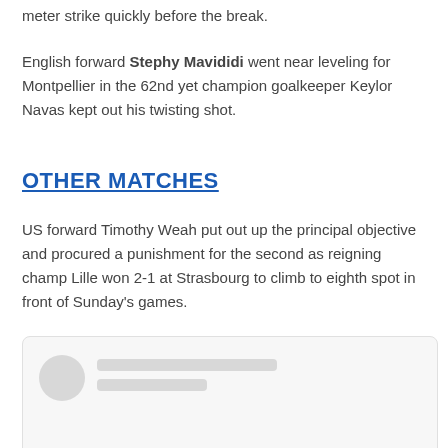meter strike quickly before the break.
English forward Stephy Mavididi went near leveling for Montpellier in the 62nd yet champion goalkeeper Keylor Navas kept out his twisting shot.
OTHER MATCHES
US forward Timothy Weah put out up the principal objective and procured a punishment for the second as reigning champ Lille won 2-1 at Strasbourg to climb to eighth spot in front of Sunday's games.
[Figure (other): Social media card placeholder with avatar circle, two gray placeholder lines, and a share icon in the bottom right corner]